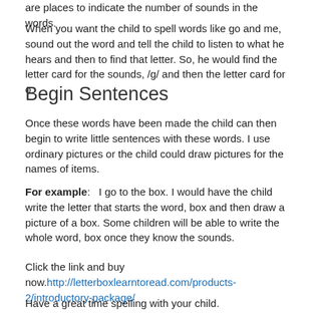are places to indicate the number of sounds in the words.
When you want the child to spell words like go and me, sound out the word and tell the child to listen to what he hears and then to find that letter. So, he would find the letter card for the sounds, /g/ and then the letter card for o.
Begin Sentences
Once these words have been made the child can then begin to write little sentences with these words. I use ordinary pictures or the child could draw pictures for the names of items.
For example:   I go to the box. I would have the child write the letter that starts the word, box and then draw a picture of a box. Some children will be able to write the whole word, box once they know the sounds.
Click the link and buy now.http://letterboxlearntoread.com/products-2/introductory-package/
Have a great time spelling with your child.